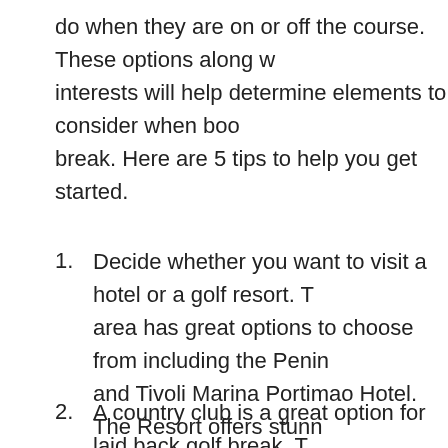do when they are on or off the course. These options along with interests will help determine elements to consider when booking a break. Here are 5 tips to help you get started.
Decide whether you want to visit a hotel or a golf resort. The area has great options to choose from including the Peninsula and Tivoli Marina Portimao Hotel. The Resort offers stunning 3 golf courses. The Hotel is a 4-star resort that is known to be a place for a weekend getaway.
A country club is a great option for laid back golf break. The area has mountains and valleys that some golf options have as a backdrop. If you want an environment with modern décor and accommodations with comfort, you may be interested in the Golf & Country Club.